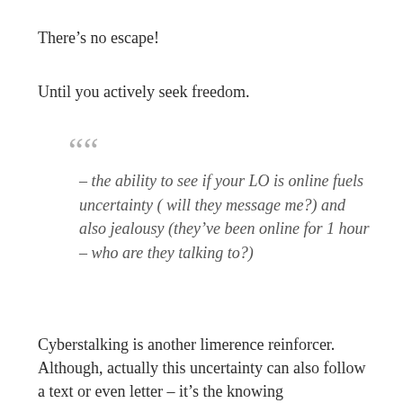There’s no escape!
Until you actively seek freedom.
““ – the ability to see if your LO is online fuels uncertainty ( will they message me?) and also jealousy (they’ve been online for 1 hour – who are they talking to?)
Cyberstalking is another limerence reinforcer. Although, actually this uncertainty can also follow a text or even letter – it’s the knowing